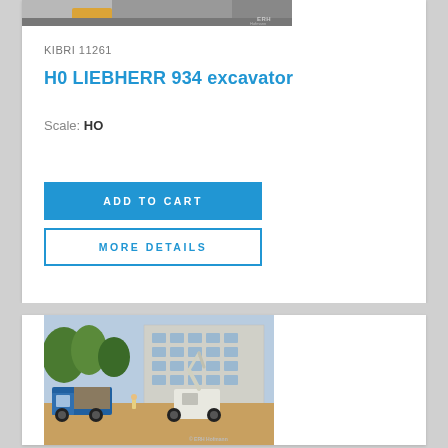[Figure (photo): Partial top image showing a yellow/orange vehicle, cropped at top with ERH watermark]
KIBRI 11261
H0 LIEBHERR 934 excavator
Scale: HO
ADD TO CART
MORE DETAILS
[Figure (photo): Model scene with a blue dump truck, white wheeled excavator working in front of a multi-story building with trees in background. ERH watermark at bottom right.]